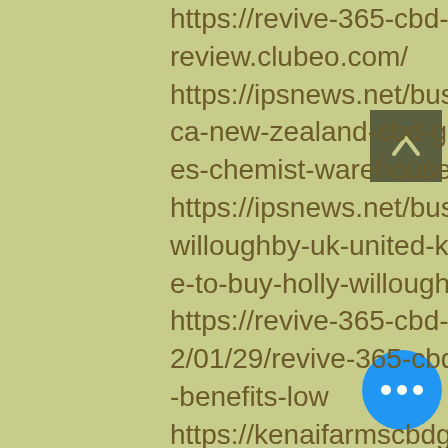https://revive-365-cbd-gummies-review.clubeo.com/
https://ipsnews.net/business/2022/01/20/aust-ralia-south-africa-new-zealand-cbd-gummies-australia-essential-cbd-gummies-chemist-warehouse-dischem-should-you-buy-it/
https://ipsnews.net/business/2022/01/27/slim-acv-keto-holly-willoughby-uk-united-kingdom-reviews-ingredient-price-where-to-buy-holly-willoughby-keto-uk/
https://revive-365-cbd-gummies-review.clubeo.com/news/2022/01/29/revive-365-cbd-gummies-reviews-best-ingredient-top-benefits-low
https://kenaifarmscbdgummiescost.clubeo.com/news/2022/01/29/revive-365-cbd-gummies-reviews-2022-read-revive-365-gummies